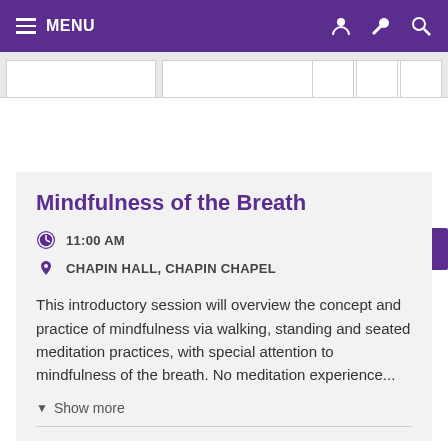MENU
THU, JAN 24, 2019
Mindfulness of the Breath
11:00 AM
CHAPIN HALL, CHAPIN CHAPEL
This introductory session will overview the concept and practice of mindfulness via walking, standing and seated meditation practices, with special attention to mindfulness of the breath. No meditation experience...
Show more